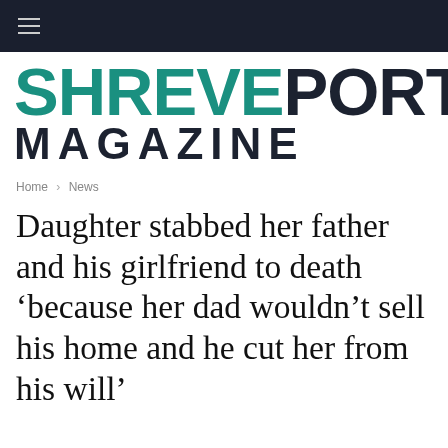SHREVEPORT MAGAZINE
Home › News
Daughter stabbed her father and his girlfriend to death 'because her dad wouldn't sell his home and he cut her from his will'